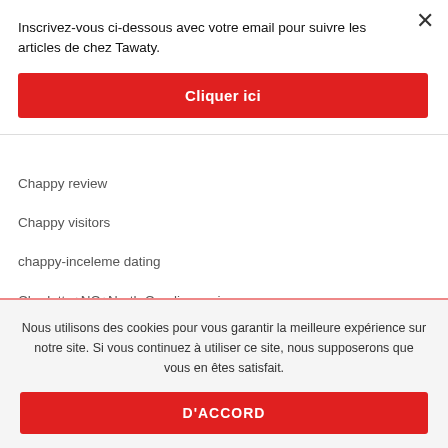Inscrivez-vous ci-dessous avec votre email pour suivre les articles de chez Tawaty.
×
Cliquer ici
Chappy review
Chappy visitors
chappy-inceleme dating
Charlotte+NC+North Carolina review
Nous utilisons des cookies pour vous garantir la meilleure expérience sur notre site. Si vous continuez à utiliser ce site, nous supposerons que vous en êtes satisfait.
D'ACCORD